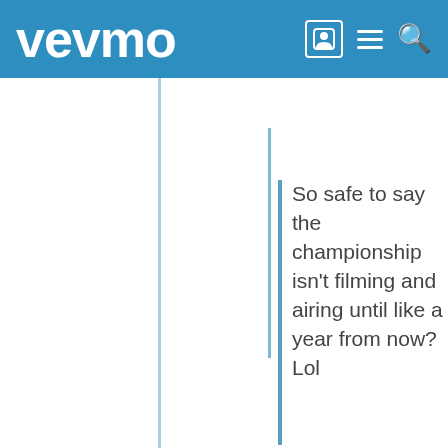vevmo
So safe to say the championship isn't filming and airing until like a year from now? Lol
Not necessarily they can film in November & air after the last one is done airing. This is filming late because Marley guy is hosting and